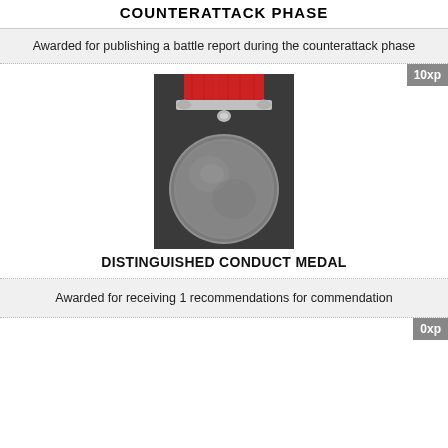COUNTERATTACK PHASE
Awarded for publishing a battle report during the counterattack phase
[Figure (illustration): A silver military medal with a red ribbon and decorative scroll clasp, photographed against a dark slate background.]
DISTINGUISHED CONDUCT MEDAL
Awarded for receiving 1 recommendations for commendation